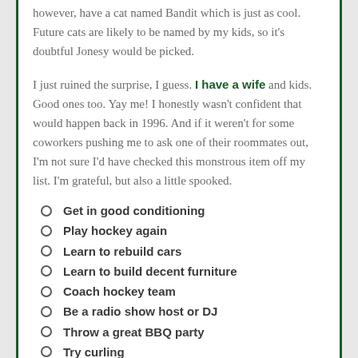however, have a cat named Bandit which is just as cool.  Future cats are likely to be named by my kids, so it's doubtful Jonesy would be picked.
I just ruined the surprise, I guess.  I have a wife and kids.  Good ones too.  Yay me!  I honestly wasn't confident that would happen back in 1996.  And if it weren't for some coworkers pushing me to ask one of their roommates out, I'm not sure I'd have checked this monstrous item off my list.  I'm grateful, but also a little spooked.
Get in good conditioning
Play hockey again
Learn to rebuild cars
Learn to build decent furniture
Coach hockey team
Be a radio show host or DJ
Throw a great BBQ party
Try curling